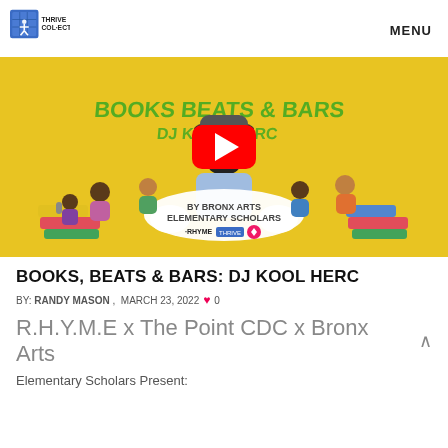Thrive Collective — MENU
[Figure (screenshot): YouTube video thumbnail for 'DJ Kool Herc Books, Beats & Bars By...' showing a cartoon illustration of a man with children labeled 'By Bronx Arts Elementary Scholars' with RHYME and Thrive Collective logos on a yellow background]
BOOKS, BEATS & BARS: DJ KOOL HERC
BY: RANDY MASON ,  MARCH 23, 2022  ♥ 0
R.H.Y.M.E x The Point CDC x Bronx Arts
Elementary Scholars Present: